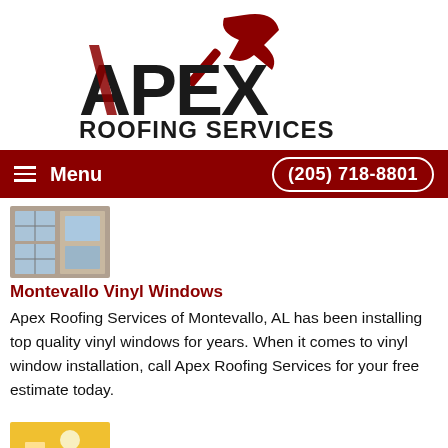[Figure (logo): APEX ROOFING SERVICES logo with red hammer icon and bold black text]
Menu   (205) 718-8801
[Figure (photo): Small thumbnail photo of a building exterior with vinyl windows]
Montevallo Vinyl Windows
Apex Roofing Services of Montevallo, AL has been installing top quality vinyl windows for years. When it comes to vinyl window installation, call Apex Roofing Services for your free estimate today.
[Figure (photo): Small thumbnail photo of a bright room interior with yellow walls]
Montevallo Painting
Apex Roofing Services proudly provides quality